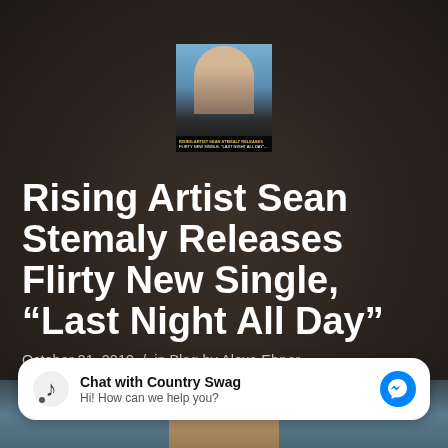[Figure (photo): Small thumbnail image of a man (Sean Stemaly) with text overlay: RISING ARTIST SEAN STEMALY RELEASES FLIRTY NEW SINGLE, 'LAST NIGHT ALL DAY']
Rising Artist Sean Stemaly Releases Flirty New Single, “Last Night All Day”
October 21, 2019 / in Blog by Alexa Ebner
[Figure (screenshot): Chat widget widget: Chat with Country Swag / Hi! How can we help you? with messenger icon]
[Figure (photo): Partial bottom photo of a man, partially visible at the bottom of the page]